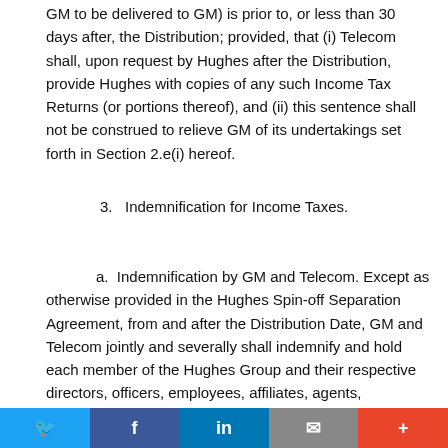GM to be delivered to GM) is prior to, or less than 30 days after, the Distribution; provided, that (i) Telecom shall, upon request by Hughes after the Distribution, provide Hughes with copies of any such Income Tax Returns (or portions thereof), and (ii) this sentence shall not be construed to relieve GM of its undertakings set forth in Section 2.e(i) hereof.
3.   Indemnification for Income Taxes.
a.  Indemnification by GM and Telecom. Except as otherwise provided in the Hughes Spin-off Separation Agreement, from and after the Distribution Date, GM and Telecom jointly and severally shall indemnify and hold each member of the Hughes Group and their respective directors, officers, employees, affiliates, agents, successors and assigns harmless from and against...